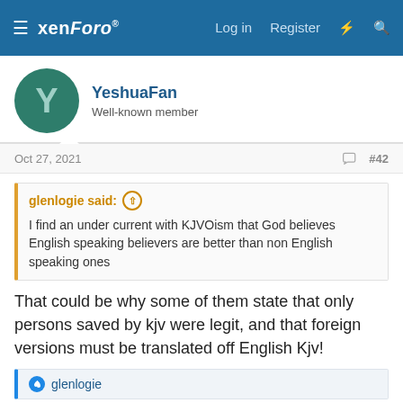≡ xenForo® Log in Register ⚡ 🔍
YeshuaFan
Well-known member
Oct 27, 2021  #42
glenlogie said: ↑
I find an under current with KJVOism that God believes English speaking believers are better than non English speaking ones
That could be why some of them state that only persons saved by kjv were legit, and that foreign versions must be translated off English Kjv!
👍 glenlogie
robycop3
Well-known member